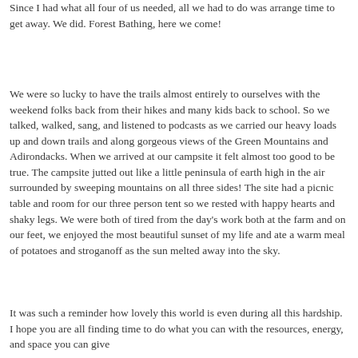Since I had what all four of us needed, all we had to do was arrange time to get away. We did. Forest Bathing, here we come!
We were so lucky to have the trails almost entirely to ourselves with the weekend folks back from their hikes and many kids back to school. So we talked, walked, sang, and listened to podcasts as we carried our heavy loads up and down trails and along gorgeous views of the Green Mountains and Adirondacks. When we arrived at our campsite it felt almost too good to be true. The campsite jutted out like a little peninsula of earth high in the air surrounded by sweeping mountains on all three sides! The site had a picnic table and room for our three person tent so we rested with happy hearts and shaky legs. We were both of tired from the day's work both at the farm and on our feet, we enjoyed the most beautiful sunset of my life and ate a warm meal of potatoes and stroganoff as the sun melted away into the sky.
It was such a reminder how lovely this world is even during all this hardship. I hope you are all finding time to do what you can with the resources, energy, and space you can give